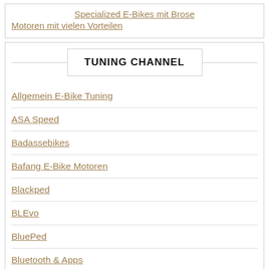Specialized E-Bikes mit Brose Motoren mit vielen Vorteilen
TUNING CHANNEL
Allgemein E-Bike Tuning
ASA Speed
Badassebikes
Bafang E-Bike Motoren
Blackped
BLEvo
BluePed
Bluetooth & Apps